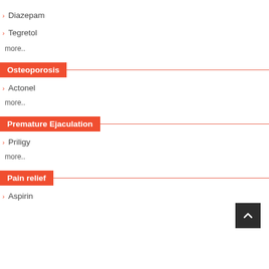Diazepam
Tegretol
more..
Osteoporosis
Actonel
more..
Premature Ejaculation
Priligy
more..
Pain relief
Aspirin